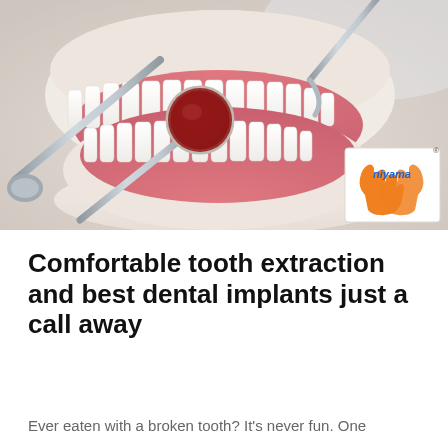[Figure (photo): Close-up photo of a dental model (jaw model) with white teeth and pink gums, with dental instruments including a mouth mirror and dental probe/explorer. A Niyama logo is overlaid in the bottom-right corner of the photo.]
Comfortable tooth extraction and best dental implants just a call away
Ever eaten with a broken tooth? It's never fun. One